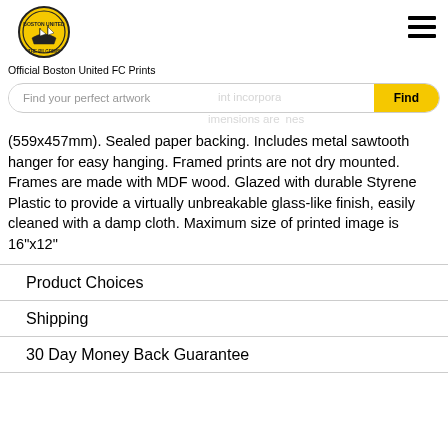[Figure (logo): Boston United FC circular crest logo with ship and pilgrim imagery, yellow and black colors]
Official Boston United FC Prints
Find your perfect artwork
(559x457mm). Sealed paper backing. Includes metal sawtooth hanger for easy hanging. Framed prints are not dry mounted. Frames are made with MDF wood. Glazed with durable Styrene Plastic to provide a virtually unbreakable glass-like finish, easily cleaned with a damp cloth. Maximum size of printed image is 16"x12"
Product Choices
Shipping
30 Day Money Back Guarantee